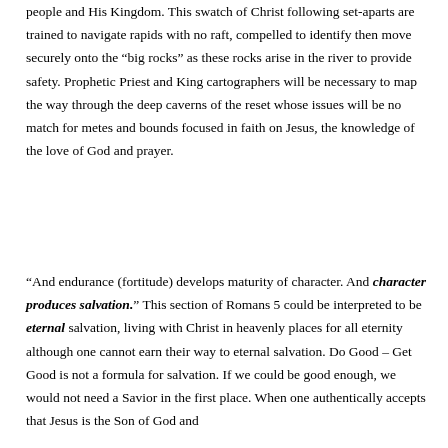people and His Kingdom. This swatch of Christ following set-aparts are trained to navigate rapids with no raft, compelled to identify then move securely onto the “big rocks” as these rocks arise in the river to provide safety. Prophetic Priest and King cartographers will be necessary to map the way through the deep caverns of the reset whose issues will be no match for metes and bounds focused in faith on Jesus, the knowledge of the love of God and prayer.
“And endurance (fortitude) develops maturity of character. And character produces salvation.” This section of Romans 5 could be interpreted to be eternal salvation, living with Christ in heavenly places for all eternity although one cannot earn their way to eternal salvation. Do Good – Get Good is not a formula for salvation. If we could be good enough, we would not need a Savior in the first place. When one authentically accepts that Jesus is the Son of God and